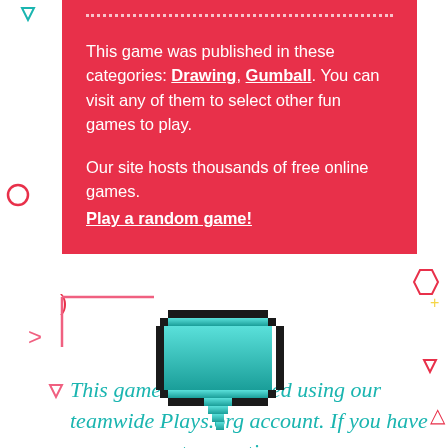This game was published in these categories: Drawing, Gumball. You can visit any of them to select other fun games to play.
Our site hosts thousands of free online games.
Play a random game!
[Figure (illustration): Pixel art speech bubble icon in teal/cyan color with black pixel outline]
This game was published using our teamwide Plays.org account. If you have any comments, questions,